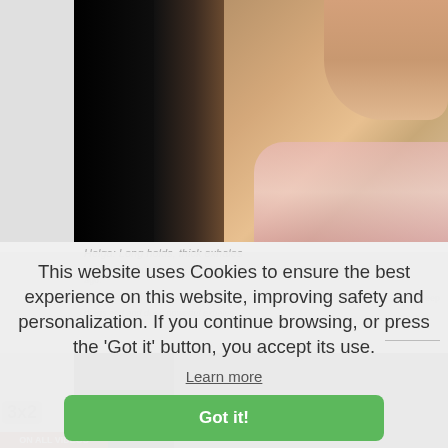[Figure (photo): Woman smoking a cigarette, close-up photo showing her hand holding cigarette near lips, wearing pink blouse, dark background on left side]
Helga: Long holds, thick exhales
This website uses Cookies to ensure the best experience on this website, improving safety and personalization. If you continue browsing, or press the 'Got it' button, you accept its use.
Learn more
Got it!